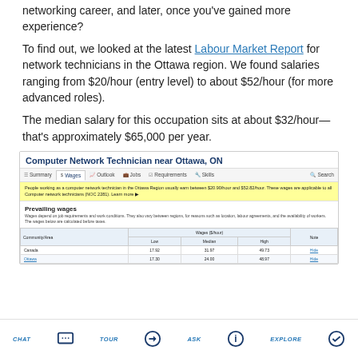networking career, and later, once you've gained more experience?
To find out, we looked at the latest Labour Market Report for network technicians in the Ottawa region. We found salaries ranging from $20/hour (entry level) to about $52/hour (for more advanced roles).
The median salary for this occupation sits at about $32/hour—that's approximately $65,000 per year.
[Figure (screenshot): Screenshot of a Government of Canada Job Bank page showing 'Computer Network Technician near Ottawa, ON' with prevailing wages table showing Low, Median, High wages for Canada and Ottawa.]
CHAT  TOUR  ASK  EXPLORE